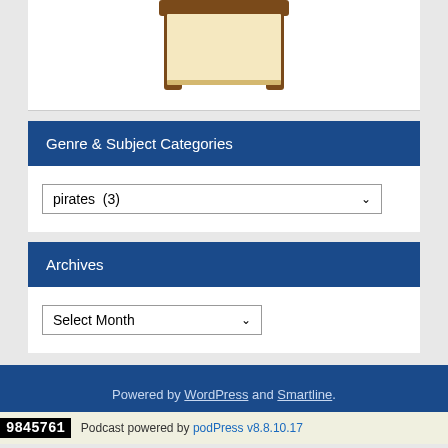[Figure (illustration): Illustration of a wooden chair or table with brown frame and light/cream colored seat/surface, partially visible at top of page]
Genre & Subject Categories
[Figure (screenshot): Dropdown select box showing 'pirates  (3)' with a down arrow]
Archives
[Figure (screenshot): Dropdown select box showing 'Select Month' with a down arrow]
Powered by WordPress and Smartline.
9845761  Podcast powered by podPress v8.8.10.17